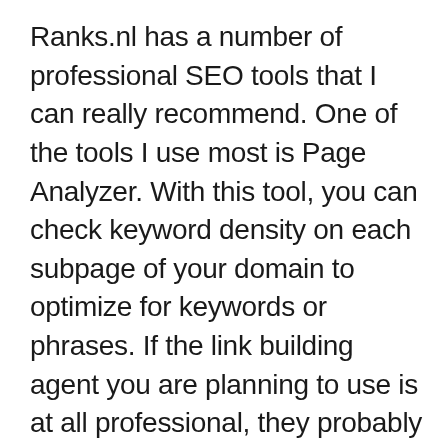Ranks.nl has a number of professional SEO tools that I can really recommend. One of the tools I use most is Page Analyzer. With this tool, you can check keyword density on each subpage of your domain to optimize for keywords or phrases. If the link building agent you are planning to use is at all professional, they probably use the tools available from ranks.nl – or similar tools extensively.